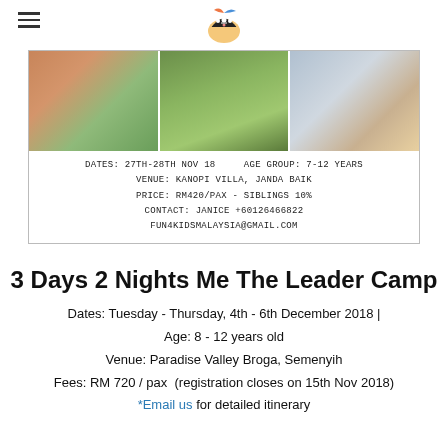Fun4Kids Malaysia logo and hamburger menu
[Figure (photo): Banner with three photos: children doing crafts, grass/nature scene, children with buckets. Below photos: event details in monospace font: DATES: 27TH-28TH NOV 18, AGE GROUP: 7-12 YEARS, VENUE: KANOPI VILLA, JANDA BAIK, PRICE: RM420/PAX - SIBLINGS 10%, CONTACT: JANICE +60126466822, FUN4KIDSMALAYSIA@GMAIL.COM]
3 Days 2 Nights Me The Leader Camp
Dates: Tuesday - Thursday, 4th - 6th December 2018 | Age: 8 - 12 years old
Venue: Paradise Valley Broga, Semenyih
Fees: RM 720 / pax  (registration closes on 15th Nov 2018)
*Email us for detailed itinerary